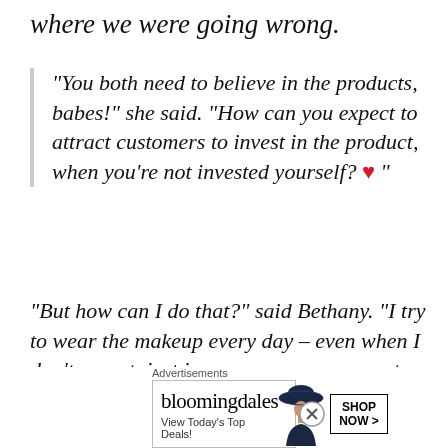where we were going wrong.
“You both need to believe in the products, babes!” she said.  “How can you expect to attract customers to invest in the product, when you’re not invested yourself? ❤ ”
“But how can I do that?” said Bethany.  “I try to wear the makeup every day – even when I don’t go out, just in case someone comes to visit – and I am always trying to take selfies.  Even when the kids are
Advertisements
[Figure (other): Bloomingdale's advertisement banner with logo, tagline 'View Today's Top Deals!', woman in wide-brim hat, and 'SHOP NOW >' button]